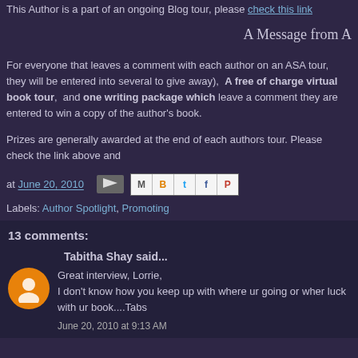This Author is a part of an ongoing Blog tour, please check this link
A Message from A
For everyone that leaves a comment with each author on an ASA tour,  they will be entered into several to give away),  A free of charge virtual book tour,  and one writing package which leave a comment they are entered to win a copy of the author's book.
Prizes are generally awarded at the end of each authors tour. Please check the link above and
at June 20, 2010
Labels: Author Spotlight, Promoting
13 comments:
Tabitha Shay said...
Great interview, Lorrie,
I don't know how you keep up with where ur going or wher luck with ur book....Tabs
June 20, 2010 at 9:13 AM